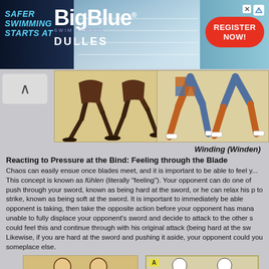[Figure (photo): BigBlue Swim School advertisement banner with pool background and Register Now button]
[Figure (photo): Medieval illustration of two figures in fighting stance, lower body view]
[Figure (photo): Medieval illustration of two figures in colorful attire in fighting stance, lower body view (Winding/Winden)]
Winding (Winden)
Reacting to Pressure at the Bind: Feeling through the Blade
Chaos can easily ensue once blades meet, and it is important to be able to feel y... This concept is known as fühlen (literally "feeling"). Your opponent can do one of push through your sword, known as being hard at the sword, or he can relax his p to strike, known as being soft at the sword. It is important to immediately be able opponent is taking, then take the opposite action before your opponent has mana unable to fully displace your opponent's sword and decide to attack to the other s could feel this and continue through with his original attack (being hard at the sw Likewise, if you are hard at the sword and pushing it aside, your opponent could you someplace else.
[Figure (photo): Medieval illustration of two figures grappling with swords]
[Figure (illustration): Modern illustration of two sword fighters at the bind, labeled A]